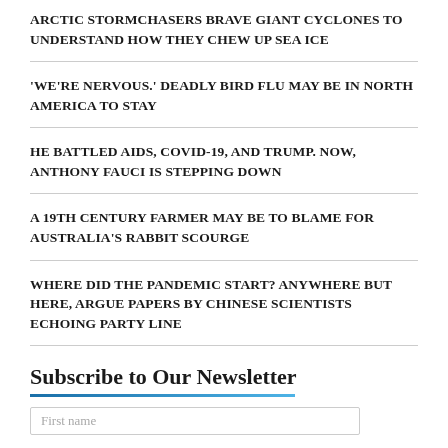ARCTIC STORMCHASERS BRAVE GIANT CYCLONES TO UNDERSTAND HOW THEY CHEW UP SEA ICE
'WE'RE NERVOUS.' DEADLY BIRD FLU MAY BE IN NORTH AMERICA TO STAY
HE BATTLED AIDS, COVID-19, AND TRUMP. NOW, ANTHONY FAUCI IS STEPPING DOWN
A 19TH CENTURY FARMER MAY BE TO BLAME FOR AUSTRALIA'S RABBIT SCOURGE
WHERE DID THE PANDEMIC START? ANYWHERE BUT HERE, ARGUE PAPERS BY CHINESE SCIENTISTS ECHOING PARTY LINE
Subscribe to Our Newsletter
First name